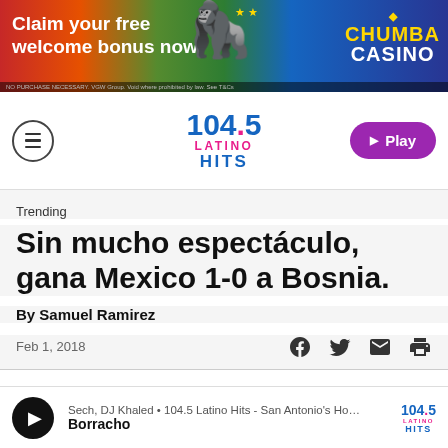[Figure (illustration): Chumba Casino advertisement banner with colorful background, gorilla image, and 'Claim your free welcome bonus now.' text, with fine print at bottom.]
104.5 Latino Hits — navigation bar with hamburger menu and Play button
Trending
Sin mucho espectáculo, gana Mexico 1-0 a Bosnia.
By Samuel Ramirez
Feb 1, 2018
Sech, DJ Khaled • 104.5 Latino Hits - San Antonio's Ho… Borracho